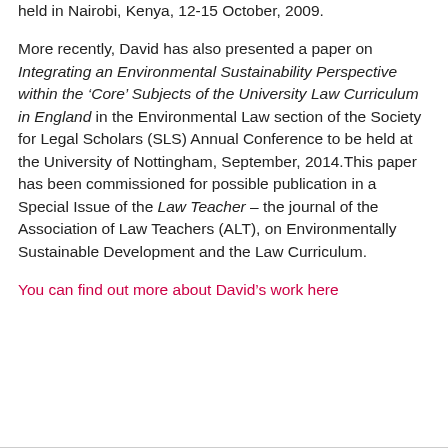meeting on Oil and Gas Providing Developing Countries held in Nairobi, Kenya, 12-15 October, 2009.
More recently, David has also presented a paper on Integrating an Environmental Sustainability Perspective within the ‘Core’ Subjects of the University Law Curriculum in England in the Environmental Law section of the Society for Legal Scholars (SLS) Annual Conference to be held at the University of Nottingham, September, 2014.This paper has been commissioned for possible publication in a Special Issue of the Law Teacher – the journal of the Association of Law Teachers (ALT), on Environmentally Sustainable Development and the Law Curriculum.
You can find out more about David’s work here